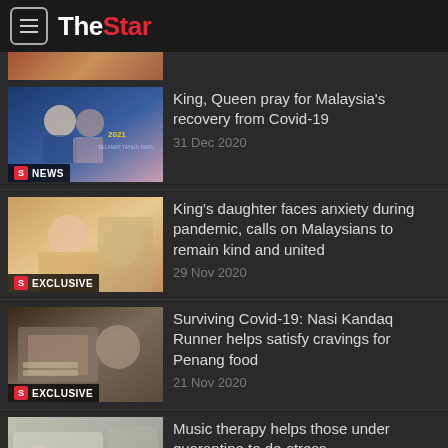The Star
King, Queen pray for Malaysia's recovery from Covid-19 · 31 Dec 2020
King's daughter faces anxiety during pandemic, calls on Malaysians to remain kind and united · 29 Nov 2020
Surviving Covid-19: Nasi Kandaq Runner helps satisfy cravings for Penang food · 21 Nov 2020
Music therapy helps those under quarantine to de-stress · 19 Nov 2020